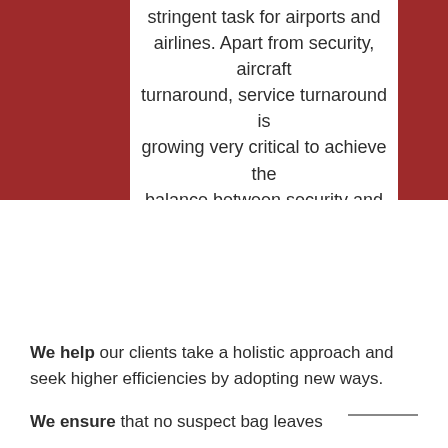stringent task for airports and airlines. Apart from security, aircraft turnaround, service turnaround is growing very critical to achieve the balance between security and experience.
We help our clients take a holistic approach and seek higher efficiencies by adopting new ways.
We ensure that no suspect bag leaves